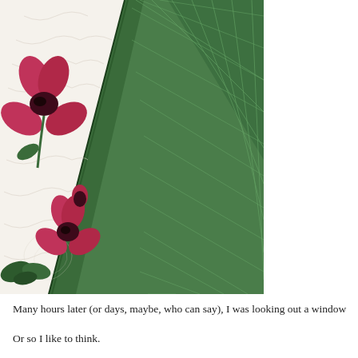[Figure (photo): Close-up photograph of a quilted fabric item showing two panels: a green quilted satin fabric with diagonal stitching pattern on the right side, and a white quilted fabric with printed floral design (pink/red flowers with dark centers and green leaves) on the left side. The two panels meet diagonally.]
Many hours later (or days, maybe, who can say), I was looking out a window
Or so I like to think.